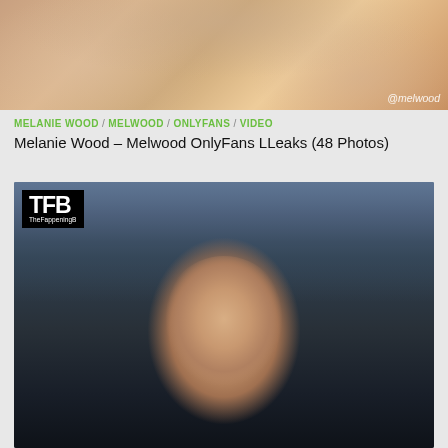[Figure (photo): Blurred/cropped photo with @melwood watermark in bottom right]
MELANIE WOOD / MELWOOD / ONLYFANS / VIDEO
Melanie Wood – Melwood OnlyFans LLeaks (48 Photos)
[Figure (photo): Photo of a smiling dark-haired woman at an event, with TFB (TheFappeningB) logo watermark in top left corner]